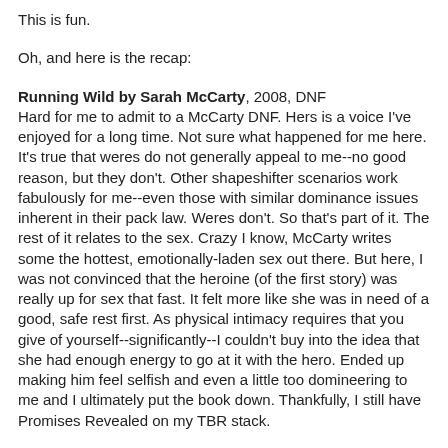This is fun.
Oh, and here is the recap:
Running Wild by Sarah McCarty, 2008, DNF
Hard for me to admit to a McCarty DNF. Hers is a voice I've enjoyed for a long time. Not sure what happened for me here. It's true that weres do not generally appeal to me--no good reason, but they don't. Other shapeshifter scenarios work fabulously for me--even those with similar dominance issues inherent in their pack law. Weres don't. So that's part of it. The rest of it relates to the sex. Crazy I know, McCarty writes some the hottest, emotionally-laden sex out there. But here, I was not convinced that the heroine (of the first story) was really up for sex that fast. It felt more like she was in need of a good, safe rest first. As physical intimacy requires that you give of yourself--significantly--I couldn't buy into the idea that she had enough energy to go at it with the hero. Ended up making him feel selfish and even a little too domineering to me and I ultimately put the book down. Thankfully, I still have Promises Revealed on my TBR stack.